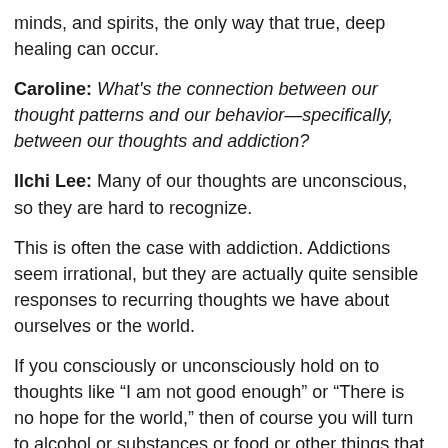minds, and spirits, the only way that true, deep healing can occur.
Caroline: What's the connection between our thought patterns and our behavior—specifically, between our thoughts and addiction?
Ilchi Lee: Many of our thoughts are unconscious, so they are hard to recognize.
This is often the case with addiction. Addictions seem irrational, but they are actually quite sensible responses to recurring thoughts we have about ourselves or the world.
If you consciously or unconsciously hold on to thoughts like “I am not good enough” or “There is no hope for the world,” then of course you will turn to alcohol or substances or food or other things that soothe you, whether or not they are actually good for you.